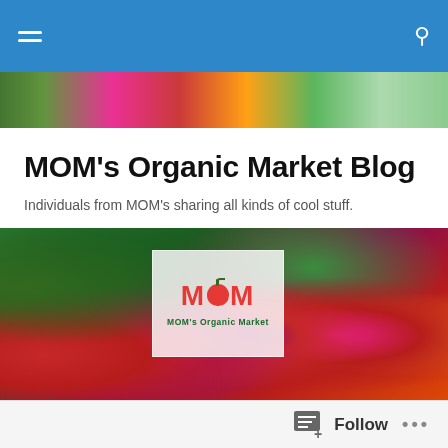MOM's Organic Market Blog navigation bar
[Figure (photo): Top vegetable banner photo strip]
MOM's Organic Market Blog
Individuals from MOM's sharing all kinds of cool stuff.
[Figure (photo): Hero banner photo of colorful vegetables (beets, peppers, greens) with MOM's Organic Market logo overlay]
TAGGED WITH KIDS ACTIVITIES
Countdown to Merrifield! ... and Directions
Follow